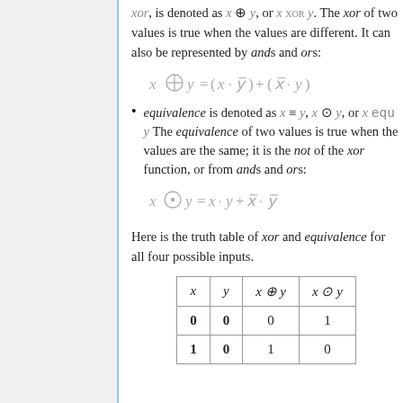xor, is denoted as x ⊕ y, or x xor y. The xor of two values is true when the values are different. It can also be represented by ands and ors:
equivalence is denoted as x ≡ y, x ⊙ y, or x equ y. The equivalence of two values is true when the values are the same; it is the not of the xor function, or from ands and ors:
Here is the truth table of xor and equivalence for all four possible inputs.
| x | y | x ⊕ y | x ⊙ y |
| --- | --- | --- | --- |
| 0 | 0 | 0 | 1 |
| 1 | 0 | 1 | 0 |